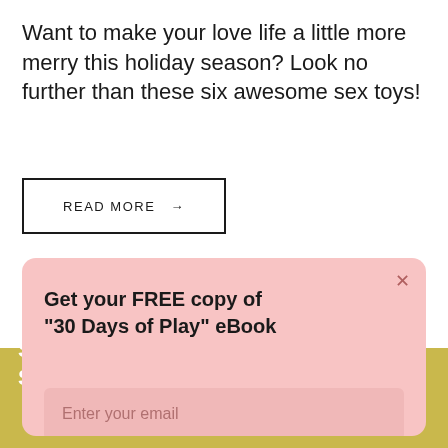Want to make your love life a little more merry this holiday season? Look no further than these six awesome sex toys!
[Figure (other): READ MORE button with arrow, outlined rectangle style]
Get your FREE copy of "30 Days of Play" eBook
Enter your email
Send Me My Copy!